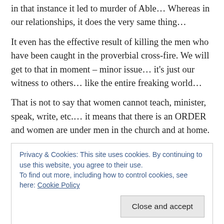in that instance it led to murder of Able… Whereas in our relationships, it does the very same thing…
It even has the effective result of killing the men who have been caught in the proverbial cross-fire. We will get to that in moment – minor issue… it's just our witness to others… like the entire freaking world…
That is not to say that women cannot teach, minister, speak, write, etc.… it means that there is an ORDER and women are under men in the church and at home.
Privacy & Cookies: This site uses cookies. By continuing to use this website, you agree to their use.
To find out more, including how to control cookies, see here: Cookie Policy
[Close and accept]
from having spiritual teaching authority over men